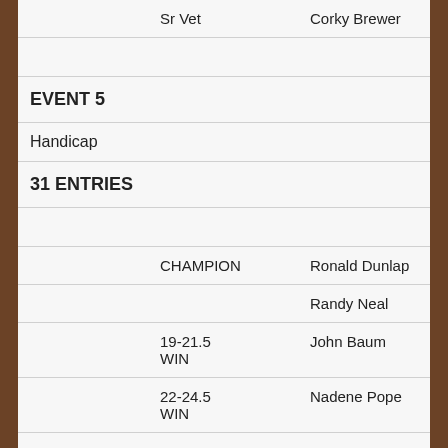|  | Category | Name | Score | Code |
| --- | --- | --- | --- | --- |
|  | Sr Vet | Corky Brewer | 92 |  |
|  |  |  |  |  |
| EVENT 5 |  |  |  |  |
| Handicap |  |  |  |  |
| 31 ENTRIES |  |  |  |  |
|  |  |  |  |  |
|  | CHAMPION | Ronald Dunlap | 93 | lso |
|  |  | Randy Neal | 93 | wso |
|  | 19-21.5 WIN | John Baum | 92 |  |
|  | 22-24.5 WIN | Nadene Pope | 88 |  |